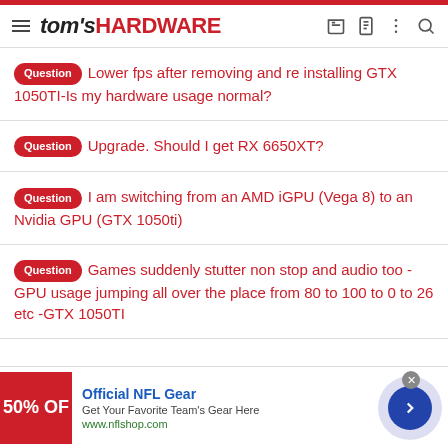tom's HARDWARE
Question Lower fps after removing and re installing GTX 1050TI-Is my hardware usage normal?
Question Upgrade. Should I get RX 6650XT?
Question I am switching from an AMD iGPU (Vega 8) to an Nvidia GPU (GTX 1050ti)
Question Games suddenly stutter non stop and audio too - GPU usage jumping all over the place from 80 to 100 to 0 to 26 etc -GTX 1050TI
[Figure (screenshot): Advertisement banner for Official NFL Gear showing 50% off promotion with nflshop.com URL and navigation arrow]